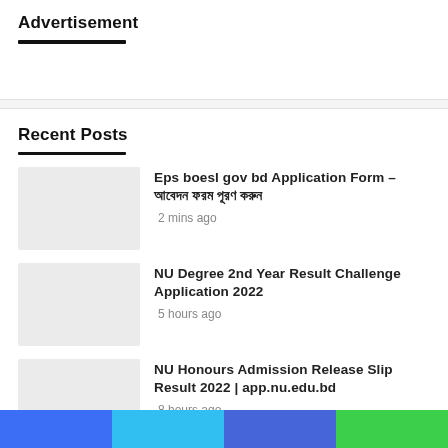Advertisement
Recent Posts
Eps boesl gov bd Application Form – আবেদন ফরম পূরণ করুন
2 mins ago
NU Degree 2nd Year Result Challenge Application 2022
5 hours ago
NU Honours Admission Release Slip Result 2022 | app.nu.edu.bd
8 hours ago